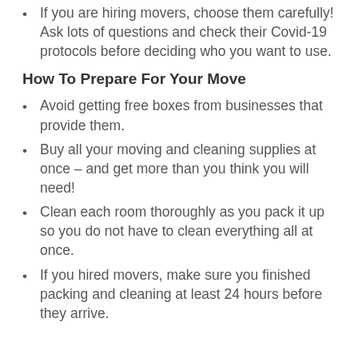If you are hiring movers, choose them carefully! Ask lots of questions and check their Covid-19 protocols before deciding who you want to use.
How To Prepare For Your Move
Avoid getting free boxes from businesses that provide them.
Buy all your moving and cleaning supplies at once – and get more than you think you will need!
Clean each room thoroughly as you pack it up so you do not have to clean everything all at once.
If you hired movers, make sure you finished packing and cleaning at least 24 hours before they arrive.